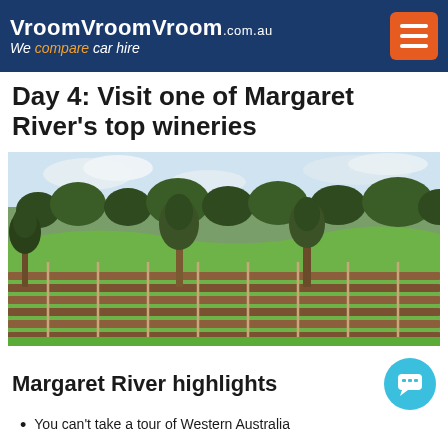VroomVroomVroom.com.au — We compare car hire
Day 4: Visit one of Margaret River's top wineries
[Figure (photo): Vineyard in Margaret River with rows of vines, green grass, and eucalyptus trees under a partly cloudy sky]
Margaret River highlights
You can't take a tour of Western Australia